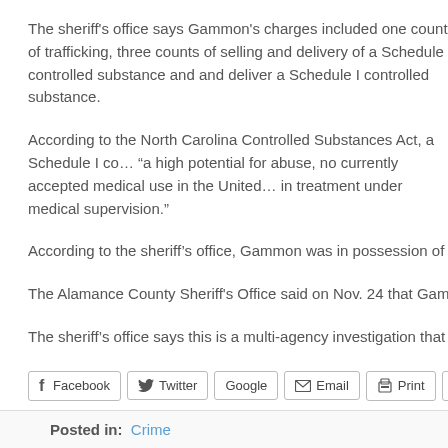The sheriff's office says Gammon's charges included one count of trafficking, three counts of selling and delivery of a Schedule I controlled substance and and deliver a Schedule I controlled substance.
According to the North Carolina Controlled Substances Act, a Schedule I co... "a high potential for abuse, no currently accepted medical use in the United... in treatment under medical supervision."
According to the sheriff's office, Gammon was in possession of between 900...
The Alamance County Sheriff's Office said on Nov. 24 that Gammon was arr...
The sheriff's office says this is a multi-agency investigation that is still ongoi...
Facebook  Twitter  Google  Email  Print  More
Posted in: Crime